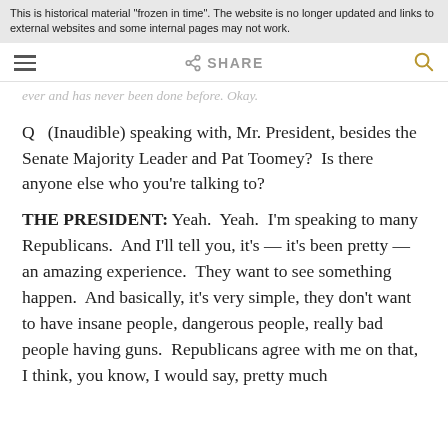This is historical material "frozen in time". The website is no longer updated and links to external websites and some internal pages may not work.
(Inaudible) speaking with, Mr. President, besides the Senate Majority Leader and Pat Toomey?  Is there anyone else who you’re talking to? (partial, faded text above nav)
ever and has never been done before.  Okay. (partial faded text)
Q   (Inaudible) speaking with, Mr. President, besides the Senate Majority Leader and Pat Toomey?  Is there anyone else who you’re talking to?
THE PRESIDENT: Yeah.  Yeah.  I’m speaking to many Republicans.  And I’ll tell you, it’s — it’s been pretty — an amazing experience.  They want to see something happen.  And basically, it’s very simple, they don’t want to have insane people, dangerous people, really bad people having guns.  Republicans agree with me on that, I think, you know, I would say, pretty much